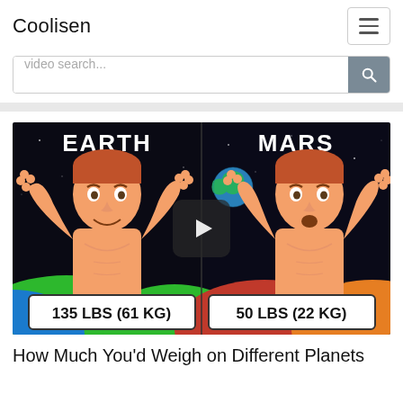Coolisen
[Figure (screenshot): Website search bar with placeholder text 'video search...' and a grey search button with magnifying glass icon]
[Figure (illustration): Video thumbnail showing two cartoon men side by side labeled EARTH (135 LBS / 61 KG) and MARS (50 LBS / 22 KG) against a space background, with a play button overlay in the center]
How Much You'd Weigh on Different Planets